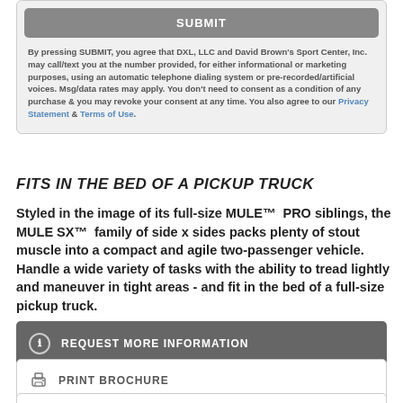SUBMIT
By pressing SUBMIT, you agree that DXL, LLC and David Brown's Sport Center, Inc. may call/text you at the number provided, for either informational or marketing purposes, using an automatic telephone dialing system or pre-recorded/artificial voices. Msg/data rates may apply. You don't need to consent as a condition of any purchase & you may revoke your consent at any time. You also agree to our Privacy Statement & Terms of Use.
FITS IN THE BED OF A PICKUP TRUCK
Styled in the image of its full-size MULE™  PRO siblings, the MULE SX™  family of side x sides packs plenty of stout muscle into a compact and agile two-passenger vehicle. Handle a wide variety of tasks with the ability to tread lightly and maneuver in tight areas - and fit in the bed of a full-size pickup truck.
REQUEST MORE INFORMATION
PRINT BROCHURE